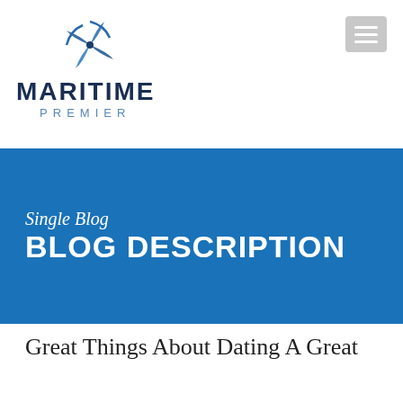[Figure (logo): Maritime Premier logo with compass/star icon SVG above text MARITIME in dark navy bold and PREMIER in lighter blue spaced letters]
[Figure (other): Grey hamburger menu button with three white horizontal lines]
Single Blog
BLOG DESCRIPTION
Great Things About Dating A Great